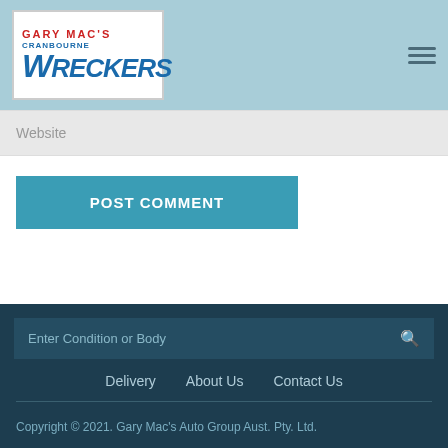[Figure (logo): Gary Mac's Cranbourne Wreckers logo on white background with red text 'GARY MAC'S' and blue text 'CRANBOURNE WRECKERS']
Website
POST COMMENT
Enter Condition or Body
Delivery   About Us   Contact Us
Copyright © 2021. Gary Mac's Auto Group Aust. Pty. Ltd.